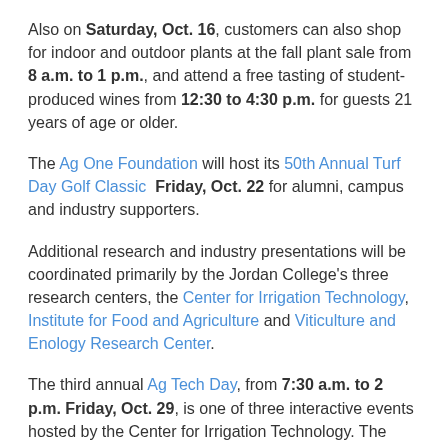Also on Saturday, Oct. 16, customers can also shop for indoor and outdoor plants at the fall plant sale from 8 a.m. to 1 p.m., and attend a free tasting of student-produced wines from 12:30 to 4:30 p.m. for guests 21 years of age or older.
The Ag One Foundation will host its 50th Annual Turf Day Golf Classic  Friday, Oct. 22 for alumni, campus and industry supporters.
Additional research and industry presentations will be coordinated primarily by the Jordan College's three research centers, the Center for Irrigation Technology, Institute for Food and Agriculture and Viticulture and Enology Research Center.
The third annual Ag Tech Day, from 7:30 a.m. to 2 p.m. Friday, Oct. 29, is one of three interactive events hosted by the Center for Irrigation Technology. The hybrid event will offer both online and in-person demonstrations of innovative irrigation technologies at three campus farm locations and more with the first starting at 8 a.m. and more...